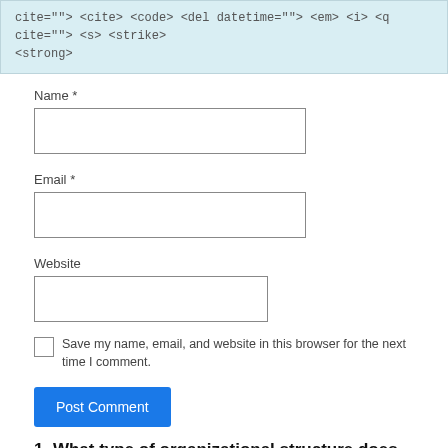cite=""> <cite> <code> <del datetime=""> <em> <i> <q cite=""> <s> <strike> <strong>
Name *
Email *
Website
Save my name, email, and website in this browser for the next time I comment.
Post Comment
1. What type of organizational structure does LMVH have? 2. What is the role of SBUs in the…
1. What type of organizational structure does LMVH have? 2. What is the role of SBUs in the… 1. What type of organizational structure does LMVH have? 2. What is